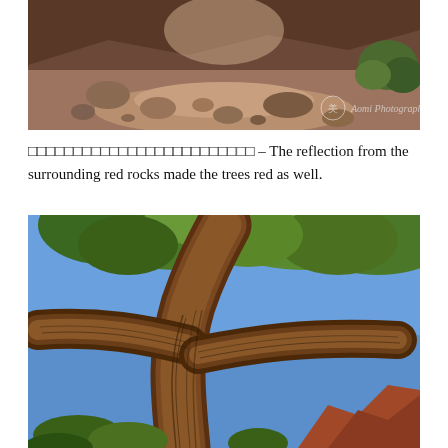[Figure (photo): Outdoor desert canyon trail with scattered red and tan boulders on sandy ground, green shrubs on right, canyon walls in background. Watermark: 美 Aomi Photography.]
□□□□□□□□□□□□□□□□□□□□□□□□□ – The reflection from the surrounding red rocks made the trees red as well.
[Figure (photo): Close-up looking up at a dramatically twisted, gnarled ancient tree trunk with deeply striated bark spreading wide branches. Green leafy canopy visible above against blue sky. Red rock formations visible in lower right background.]